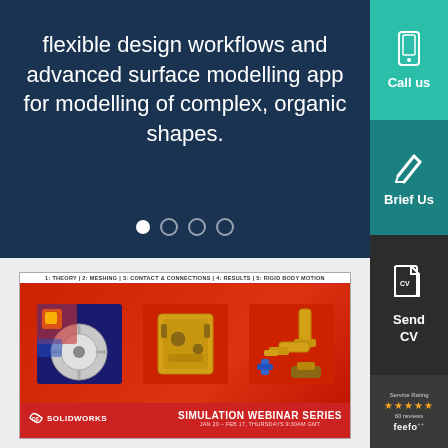flexible design workflows and advanced surface modelling app for modelling of complex, organic shapes.
[Figure (screenshot): Navigation dots (carousel indicators) - one filled white, three outline circles on dark navy background]
[Figure (screenshot): Call us button with phone icon on teal/green background in sidebar]
[Figure (screenshot): Brief Us button with pencil icon on dark teal background in sidebar]
[Figure (screenshot): Send CV button with document/CV icon on dark background in sidebar]
[Figure (screenshot): Feefo service rating widget showing 5 stars and 60 reviews on dark background]
[Figure (screenshot): SOLIDWORKS Simulation Webinar Series promotional banner. Shows engineering simulations (FEA stress analysis, wheel, mechanical assembly, robotic arm). Top bar lists: 1: THEORY | 2: MESHING | 3: CONTACT & CONNECTIONS | 4: RESULTS | 5: RIGID BODY MOTION. Footer shows DS SOLIDWORKS logo and SIMULATION WEBINAR SERIES text with dates JAN 20 - FEB 17, THURSDAYS 9:30AM GMT.]